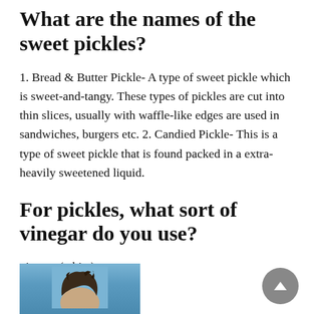What are the names of the sweet pickles?
1. Bread & Butter Pickle- A type of sweet pickle which is sweet-and-tangy. These types of pickles are cut into thin slices, usually with waffle-like edges are used in sandwiches, burgers etc. 2. Candied Pickle- This is a type of sweet pickle that is found packed in a extra-heavily sweetened liquid.
For pickles, what sort of vinegar do you use?
vinegar (white)
[Figure (photo): Partial photo of a person's head with dark hair against a light blue sky background, cropped at bottom of page.]